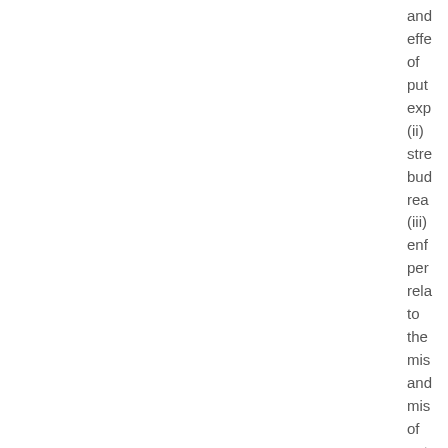and effe of put exp (ii) stre bud rea (iii) enf per rela to the mis and mis of put fun (iv) ens